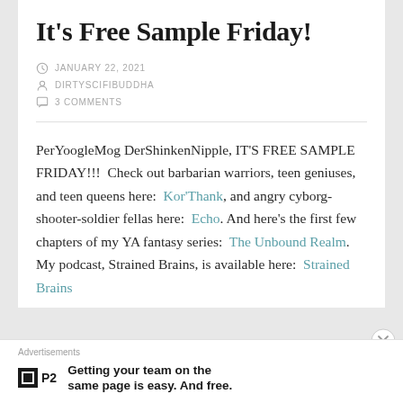It's Free Sample Friday!
JANUARY 22, 2021
DIRTYSCIFIBUDDHA
3 COMMENTS
PerYoogleMog DerShinkenNipple, IT'S FREE SAMPLE FRIDAY!!!  Check out barbarian warriors, teen geniuses, and teen queens here:  Kor'Thank, and angry cyborg-shooter-soldier fellas here:  Echo.  And here's the first few chapters of my YA fantasy series:  The Unbound Realm.  My podcast, Strained Brains, is available here:  Strained Brains
Advertisements
Getting your team on the same page is easy. And free.